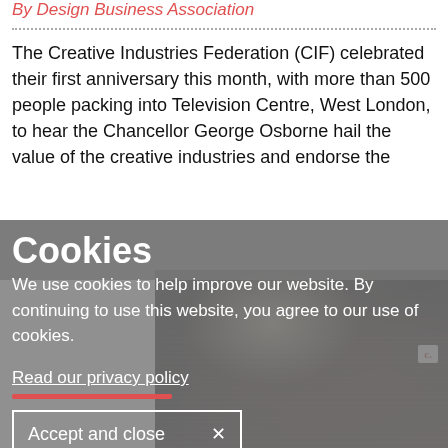By Design Business Association
The Creative Industries Federation (CIF) celebrated their first anniversary this month, with more than 500 people packing into Television Centre, West London, to hear the Chancellor George Osborne hail the value of the creative industries and endorse the
[Figure (photo): Large crowd gathered at Television Centre event venue, dark atmospheric photo with bright spotlight and crowd of 500+ attendees]
Cookies
We use cookies to help improve our website. By continuing to use this website, you agree to our use of cookies.
Read our privacy policy
Accept and close ×